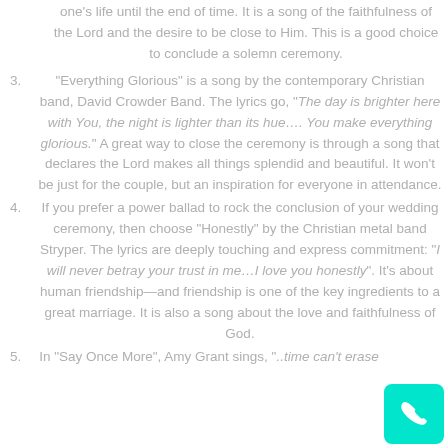one's life until the end of time. It is a song of the faithfulness of the Lord and the desire to be close to Him. This is a good choice to conclude a solemn ceremony.
3. "Everything Glorious" is a song by the contemporary Christian band, David Crowder Band. The lyrics go, "The day is brighter here with You, the night is lighter than its hue…. You make everything glorious." A great way to close the ceremony is through a song that declares the Lord makes all things splendid and beautiful. It won't be just for the couple, but an inspiration for everyone in attendance.
4. If you prefer a power ballad to rock the conclusion of your wedding ceremony, then choose "Honestly" by the Christian metal band Stryper. The lyrics are deeply touching and express commitment: "I will never betray your trust in me…I love you honestly". It's about human friendship—and friendship is one of the key ingredients to a great marriage. It is also a song about the love and faithfulness of God.
5. In "Say Once More", Amy Grant sings, "..time can't erase